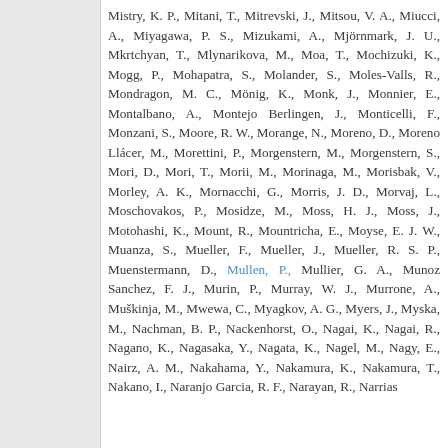Mistry, K. P., Mitani, T., Mitrevski, J., Mitsou, V. A., Miucci, A., Miyagawa, P. S., Mizukami, A., Mjörnmark, J. U., Mkrtchyan, T., Mlynarikova, M., Moa, T., Mochizuki, K., Mogg, P., Mohapatra, S., Molander, S., Moles-Valls, R., Mondragon, M. C., Mönig, K., Monk, J., Monnier, E., Montalbano, A., Montejo Berlingen, J., Monticelli, F., Monzani, S., Moore, R. W., Morange, N., Moreno, D., Moreno Llácer, M., Morettini, P., Morgenstern, M., Morgenstern, S., Mori, D., Mori, T., Morii, M., Morinaga, M., Morisbak, V., Morley, A. K., Mornacchi, G., Morris, J. D., Morvaj, L., Moschovakos, P., Mosidze, M., Moss, H. J., Moss, J., Motohashi, K., Mount, R., Mountricha, E., Moyse, E. J. W., Muanza, S., Mueller, F., Mueller, J., Mueller, R. S. P., Muenstermann, D., Mullen, P., Mullier, G. A., Munoz Sanchez, F. J., Murin, P., Murray, W. J., Murrone, A., Muškinja, M., Mwewa, C., Myagkov, A. G., Myers, J., Myska, M., Nachman, B. P., Nackenhorst, O., Nagai, K., Nagai, R., Nagano, K., Nagasaka, Y., Nagata, K., Nagel, M., Nagy, E., Nairz, A. M., Nakahama, Y., Nakamura, K., Nakamura, T., Nakano, I., Naranjo Garcia, R. F., Narayan, R., Narrias